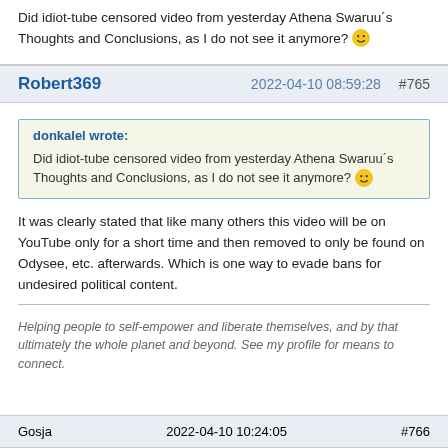Did idiot-tube censored video from yesterday Athena Swaruu´s Thoughts and Conclusions, as I do not see it anymore? 🙂
Robert369  2022-04-10 08:59:28  #765
donkalel wrote:
Did idiot-tube censored video from yesterday Athena Swaruu´s Thoughts and Conclusions, as I do not see it anymore? 🙂
It was clearly stated that like many others this video will be on YouTube only for a short time and then removed to only be found on Odysee, etc. afterwards. Which is one way to evade bans for undesired political content.
Helping people to self-empower and liberate themselves, and by that ultimately the whole planet and beyond. See my profile for means to connect.
Gosja  2022-04-10 10:24:05  #766